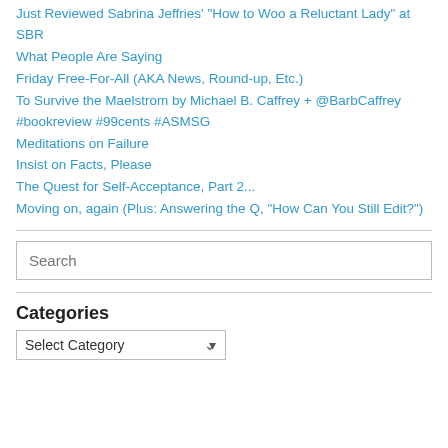Just Reviewed Sabrina Jeffries' "How to Woo a Reluctant Lady" at SBR
What People Are Saying
Friday Free-For-All (AKA News, Round-up, Etc.)
To Survive the Maelstrom by Michael B. Caffrey + @BarbCaffrey #bookreview #99cents #ASMSG
Meditations on Failure
Insist on Facts, Please
The Quest for Self-Acceptance, Part 2...
Moving on, again (Plus: Answering the Q, "How Can You Still Edit?")
Categories
Select Category